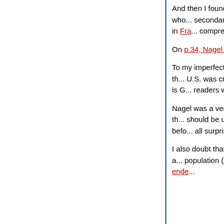And then I found Beiträge zum geographischen U... geographic studies") 1856, by Rudolf Nagel, who... secondary-school teacher in Remscheid. I say "se... very rusty and the book is of course printed in Fra... comprehension to its limit (and beyond).
On p.34, Nagel writes:
To my imperfect understanding, he seems to be s... nation is properly in the geographic center, and th... U.S. was creating an American Heartland in the M... duplicated) the "Heartland of Europe", which is G... readers with better knowledge of German to tell m...
Nagel was a very minor figure, and I suspect he w... groundbreaking here. The idea that Germany is th... should be unified the better to take its proper plac... seems to have been widespread in the years befo... all surprised if it influenced Mackinder, whether he...
I also doubt that it's coincidence that Roosevelt ta... heart of the nation" when he was in Wisconsin, a... population (including my grandfather's family). Th... overlap between where German-Americans ende...